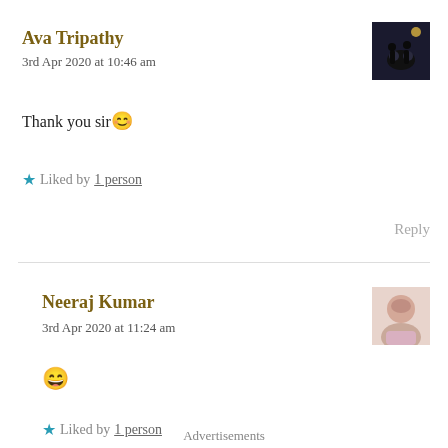Ava Tripathy
3rd Apr 2020 at 10:46 am
[Figure (photo): User avatar for Ava Tripathy – dark silhouette image]
Thank you sir 😊
★ Liked by 1 person
Reply
Neeraj Kumar
3rd Apr 2020 at 11:24 am
[Figure (photo): User avatar for Neeraj Kumar – portrait photo]
😄
★ Liked by 1 person
Advertisements